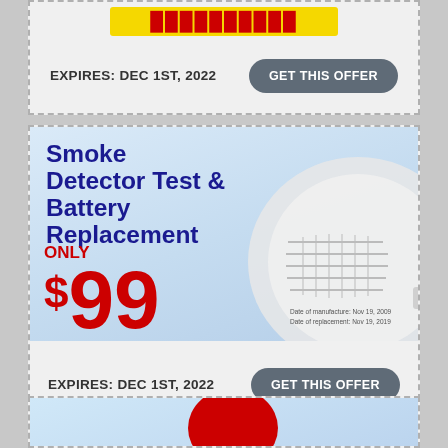EXPIRES: DEC 1ST, 2022
GET THIS OFFER
[Figure (photo): Smoke detector close-up photo with blue-gray background showing a white circular smoke detector device]
Smoke Detector Test & Battery Replacement
ONLY $99
EXPIRES: DEC 1ST, 2022
GET THIS OFFER
[Figure (photo): Partial view of another coupon at the bottom of the page]